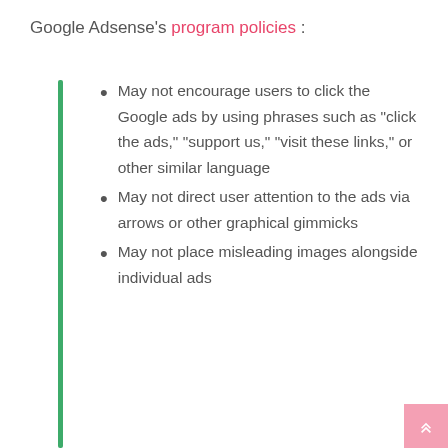Google Adsense's program policies :
May not encourage users to click the Google ads by using phrases such as “click the ads,” “support us,” “visit these links,” or other similar language
May not direct user attention to the ads via arrows or other graphical gimmicks
May not place misleading images alongside individual ads